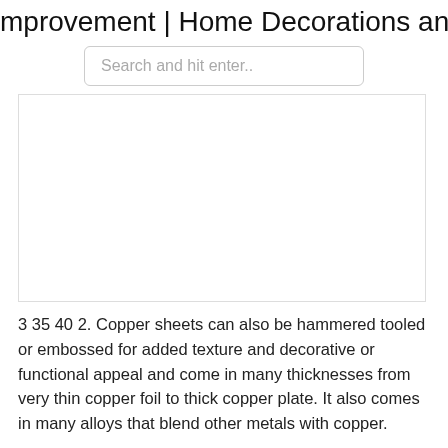mprovement | Home Decorations and
[Figure (other): Search input field with placeholder text 'Search and hit enter..']
[Figure (photo): Large image placeholder — white box with border representing a photo of copper sheets or home decoration content]
3 35 40 2. Copper sheets can also be hammered tooled or embossed for added texture and decorative or functional appeal and come in many thicknesses from very thin copper foil to thick copper plate. It also comes in many alloys that blend other metals with copper.